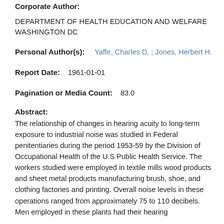Corporate Author:
DEPARTMENT OF HEALTH EDUCATION AND WELFARE WASHINGTON DC
Personal Author(s):   Yaffe, Charles D. ; Jones, Herbert H.
Report Date:   1961-01-01
Pagination or Media Count:   83.0
Abstract:
The relationship of changes in hearing acuity to long-term exposure to industrial noise was studied in Federal penitentiaries during the period 1953-59 by the Division of Occupational Health of the U.S Public Health Service. The workers studied were employed in textile mills wood products and sheet metal products manufacturing brush, shoe, and clothing factories and printing. Overall noise levels in these operations ranged from approximately 75 to 110 decibels. Men employed in these plants had their hearing